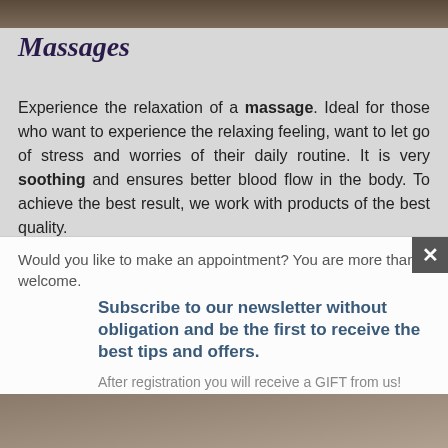[Figure (photo): Top cropped photo, dark brown tones, partial view of a spa or massage setting]
Massages
Experience the relaxation of a massage. Ideal for those who want to experience the relaxing feeling, want to let go of stress and worries of their daily routine. It is very soothing and ensures better blood flow in the body. To achieve the best result, we work with products of the best quality.
Would you like to make an appointment? You are more than welcome.
Subscribe to our newsletter without obligation and be the first to receive the best tips and offers.
After registration you will receive a GIFT from us! (check your spam box if the email you need to confirm does not arrive).
[Figure (photo): Bottom partial photo, warm tones, partial view of interior or spa setting]